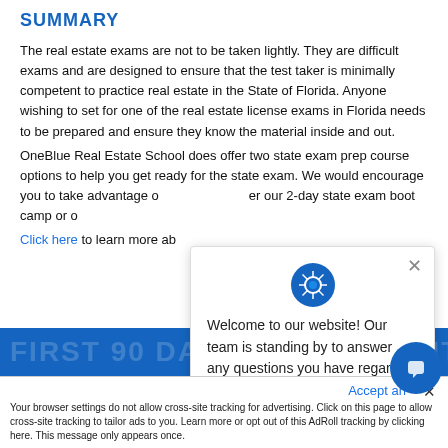SUMMARY
The real estate exams are not to be taken lightly. They are difficult exams and are designed to ensure that the test taker is minimally competent to practice real estate in the State of Florida. Anyone wishing to set for one of the real estate license exams in Florida needs to be prepared and ensure they know the material inside and out.
OneBlue Real Estate School does offer two state exam prep course options to help you get ready for the state exam. We would encourage you to take advantage of either our 2-day state exam boot camp or our online exam prep course.
Click here to learn more ab...
[Figure (screenshot): Chat popup widget with camera/aperture icon, close X button, and welcome message: 'Welcome to our website! Our team is standing by to answer any questions you have regarding our courses!']
Your browser settings do not allow cross-site tracking for advertising. Click on this page to allow cross-site tracking to tailor ads to you. Learn more or opt out of this AdRoll tracking by clicking here. This message only appears once.